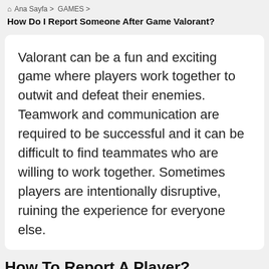🏠 Ana Sayfa > GAMES > How Do I Report Someone After Game Valorant?
Valorant can be a fun and exciting game where players work together to outwit and defeat their enemies. Teamwork and communication are required to be successful and it can be difficult to find teammates who are willing to work together. Sometimes players are intentionally disruptive, ruining the experience for everyone else.
How To Report A Player?